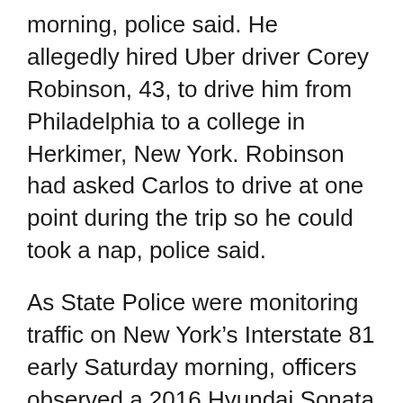morning, police said. He allegedly hired Uber driver Corey Robinson, 43, to drive him from Philadelphia to a college in Herkimer, New York. Robinson had asked Carlos to drive at one point during the trip so he could took a nap, police said.
As State Police were monitoring traffic on New York’s Interstate 81 early Saturday morning, officers observed a 2016 Hyundai Sonata driving at 86 mph. When troopers attempted to stop the car, it sped up, and the driver refused to pull over, police said.
When Robinson awoke, he allegedly asked Carlos why he was driving so fast, and Carlos told him it was because police were chasing them, police said.